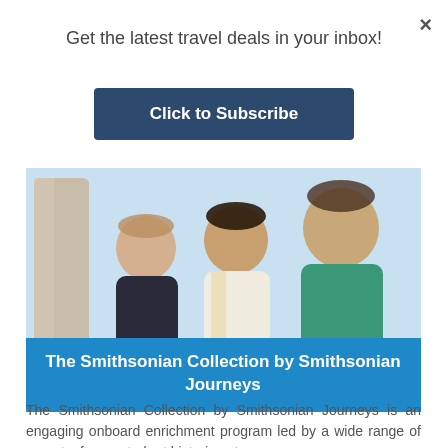×
Get the latest travel deals in your inbox!
Click to Subscribe
[Figure (photo): Three people (two women and one man) standing together, likely at a historical or tourist site with stone columns in the background. The man wears a teal/turquoise shirt. A blue banner overlays the bottom of the image reading 'The Smithsonian Collection by Smithsonian Journeys'.]
The Smithsonian Collection by Smithsonian Journeys
The Smithsonian Collection by Smithsonian Journeys is an engaging onboard enrichment program led by a wide range of experts, from noted art historians to